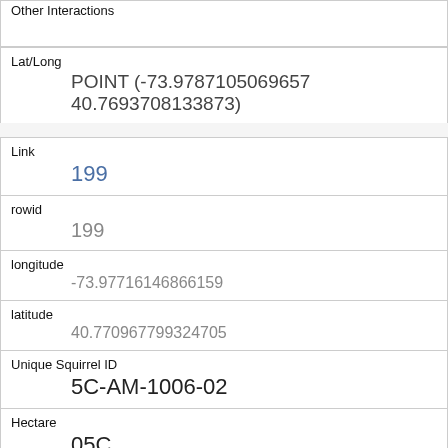| Other Interactions |  |
| Lat/Long | POINT (-73.9787105069657 40.7693708133873) |
| Link | 199 |
| rowid | 199 |
| longitude | -73.97716146866159 |
| latitude | 40.770967799324705 |
| Unique Squirrel ID | 5C-AM-1006-02 |
| Hectare | 05C |
| Shift | AM |
| Date | 10062018 |